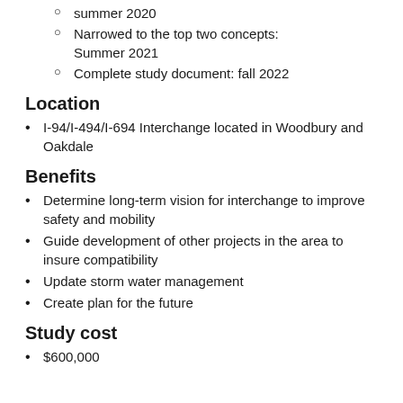summer 2020
Narrowed to the top two concepts: Summer 2021
Complete study document: fall 2022
Location
I-94/I-494/I-694 Interchange located in Woodbury and Oakdale
Benefits
Determine long-term vision for interchange to improve safety and mobility
Guide development of other projects in the area to insure compatibility
Update storm water management
Create plan for the future
Study cost
$600,000